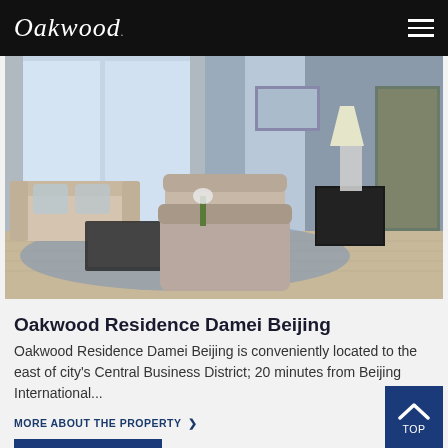Oakwood
[Figure (photo): Interior photo of a luxury apartment living room with sofas, armchairs, coffee table, lamp, and large windows — Oakwood Residence Damei Beijing]
Oakwood Residence Damei Beijing
Oakwood Residence Damei Beijing is conveniently located to the east of city's Central Business District; 20 minutes from Beijing International...
MORE ABOUT THE PROPERTY >
BOOK NOW